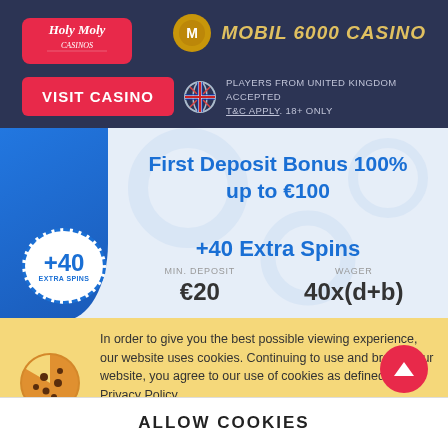[Figure (logo): Holy Moly Casinos logo - red rounded rectangle with italic text]
MOBIL6000 CASINO
VISIT CASINO
PLAYERS FROM UNITED KINGDOM ACCEPTED T&C APPLY. 18+ ONLY
First Deposit Bonus 100% up to €100 +40 Extra Spins
+40 EXTRA SPINS
MIN. DEPOSIT €20
WAGER 40x(d+b)
In order to give you the best possible viewing experience, our website uses cookies. Continuing to use and browse our website, you agree to our use of cookies as defined in our Privacy Policy.
ALLOW COOKIES